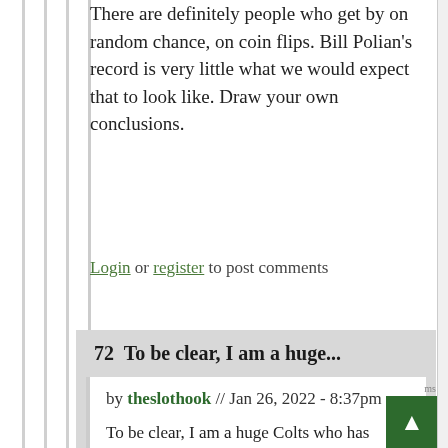There are definitely people who get by on random chance, on coin flips. Bill Polian's record is very little what we would expect that to look like. Draw your own conclusions.
Login or register to post comments
72  To be clear, I am a huge...
by theslothook // Jan 26, 2022 - 8:37pm
To be clear, I am a huge Colts who has followed the team s 2000s and very closely I might add. They are responsible for moments of football ecstasy and